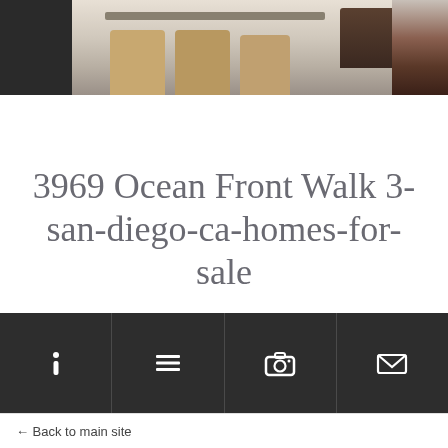[Figure (photo): Interior photo of a modern home showing a dining area with chairs and a living area with a dark sofa, cropped at top of page]
3969 Ocean Front Walk 3-san-diego-ca-homes-for-sale
[Figure (infographic): Dark navigation bar with four icons: info (i), list, camera, and envelope/mail]
← Back to main site